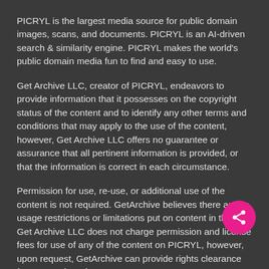PICRYL is the largest media source for public domain images, scans, and documents. PICRYL is an AI-driven search & similarity engine. PICRYL makes the world's public domain media fun to find and easy to use.
Get Archive LLC, creator of PICRYL, endeavors to provide information that it possesses on the copyright status of the content and to identify any other terms and conditions that may apply to the use of the content, however, Get Archive LLC offers no guarantee or assurance that all pertinent information is provided, or that the information is correct in each circumstance.
Permission for use, re-use, or additional use of the content is not required. GetArchive believes there are no usage restrictions or limitations put on content in the U.S. Get Archive LLC does not charge permission and license fees for use of any of the content on PICRYL, however, upon request, GetArchive can provide rights clearance for content for a fee.
Get Archive LLC is the owner of the compilation of content that is